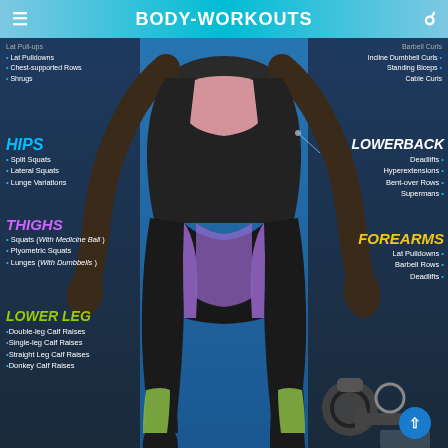BODY-WORKOUTS
[Figure (illustration): Anatomical illustration of the lower body (legs, hips, lower back) with muscles highlighted in different colors: pink (hip flexors), purple (thighs/adductors), green (lower legs/calves), on a dark blue background with kettlebell and dumbbell icons at bottom right]
Lat Pull-ups, Lat Pulldowns, Chest-supported Rows, Shrugs (top left partial)
Barbell Curls, Incline Dumbbell Curls, Standing Biceps, Cable Curls (top right partial)
HIPS
Split Squats
Lateral Squats
Lunge Variations
LOWERBACK
Deadlifts
Hyperextensions
Bent-over Rows
Supermans
THIGHS
Squats (With Medicine Ball)
Plyometric Squats
Lunges (With Dumbbells)
FOREARMS
Lat Pulldowns
Barbell Rows
Deadlifts
LOWER LEG
Double-leg Calf Raises
Single-leg Calf Raises
Straight Leg Calf Raises
Donkey Calf Raises